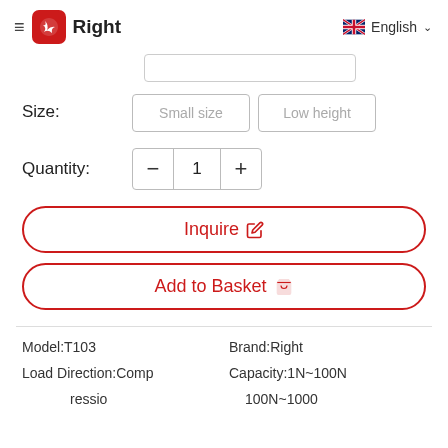Right | English
Size: Small size  Low height
Quantity: 1
Inquire
Add to Basket
| Model:T103 | Brand:Right |
| Load Direction:Compression | Capacity:1N~100N |
|  | 100N~1000 |